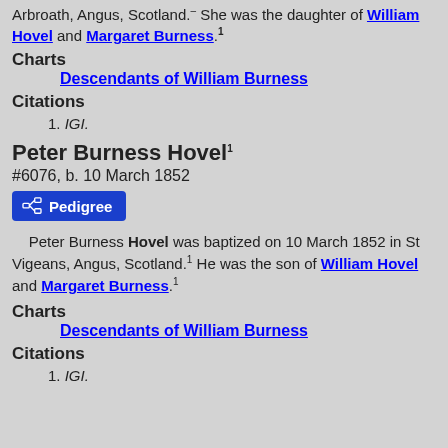Arbroath, Angus, Scotland. She was the daughter of William Hovel and Margaret Burness.1
Charts
Descendants of William Burness
Citations
1. IGI.
Peter Burness Hovel1
#6076, b. 10 March 1852
Pedigree
Peter Burness Hovel was baptized on 10 March 1852 in St Vigeans, Angus, Scotland.1 He was the son of William Hovel and Margaret Burness.1
Charts
Descendants of William Burness
Citations
1. IGI.